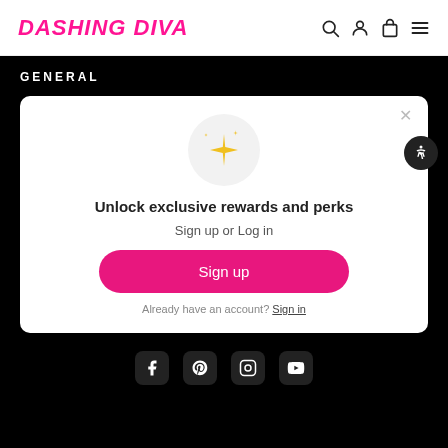[Figure (logo): Dashing Diva logo in hot pink italic bold text, with search, account, bag, and menu icons on the right]
GENERAL
[Figure (infographic): Modal card with sparkle emoji in gray circle, heading 'Unlock exclusive rewards and perks', subtext 'Sign up or Log in', pink Sign up button, and 'Already have an account? Sign in' link]
[Figure (infographic): Social media icons row at the bottom (Facebook, Pinterest, Instagram, YouTube) on black background]